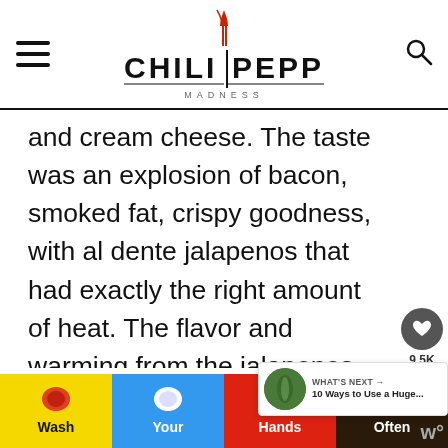Chili Pepper Madness
and cream cheese. The taste was an explosion of bacon, smoked fat, crispy goodness, with al dente jalapenos that had exactly the right amount of heat. The flavor and warming from the jalapenos was perfection. I have never enjoyed anything more. This is now staple we will be making
[Figure (infographic): Wash Your Hands Often advertisement banner at bottom of page]
[Figure (infographic): What's Next panel showing 10 Ways to Use a Huge... article preview with jalapeño image]